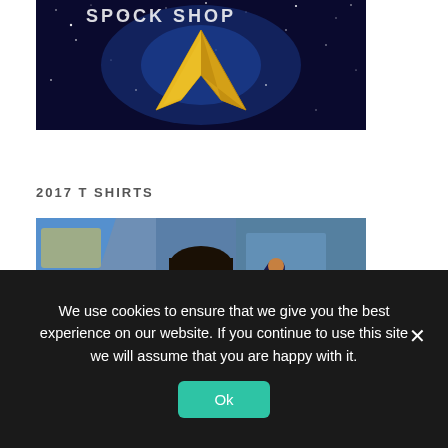[Figure (photo): Star Trek logo (gold delta shield) against a deep blue starfield background, with partial text at the top]
2017 T SHIRTS
[Figure (photo): A smiling young woman with short dark hair wearing a dark jacket, photographed outdoors in front of colorful graffiti, pointing with one finger]
We use cookies to ensure that we give you the best experience on our website. If you continue to use this site we will assume that you are happy with it.